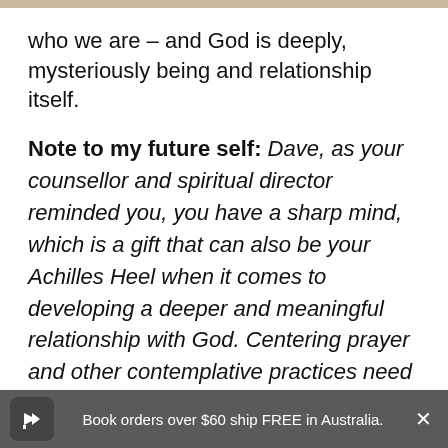who we are – and God is deeply, mysteriously being and relationship itself.
Note to my future self: Dave, as your counsellor and spiritual director reminded you, you have a sharp mind, which is a gift that can also be your Achilles Heel when it comes to developing a deeper and meaningful relationship with God. Centering prayer and other contemplative practices need to be a non-negotiable for you. You must regularly let go of mastery and keep leaning further into
Book orders over $60 ship FREE in Australia.